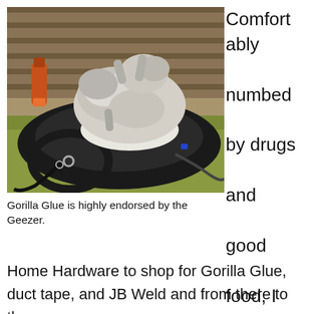[Figure (photo): A photo of an animal (appears to be a sheep or similar) lying on its back on a saddle/harness equipment outdoors on wooden planks, with grass visible below and a bottle in the background.]
Gorilla Glue is highly endorsed by the Geezer.
Comfortably numbed by drugs and good food, I hobbled over to Dawson Home Hardware to shop for Gorilla Glue, duct tape, and JB Weld and from there to the